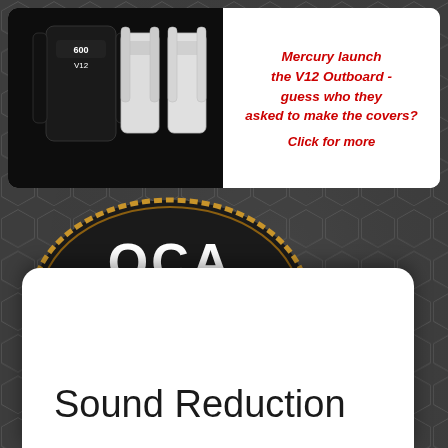[Figure (screenshot): Top banner with Mercury V12 Outboard motor cover product images on dark background (left) and white panel (right) with red italic text: 'Mercury launch the V12 Outboard - guess who they asked to make the covers? Click for more']
Mercury launch the V12 Outboard - guess who they asked to make the covers? Click for more
[Figure (logo): OCA - Outboard Covers & Accessories oval logo with gold rope border, propeller icon, and www.outboardcovers.com text on dark honeycomb background]
The Manufacturers Choice
Sound Reduction